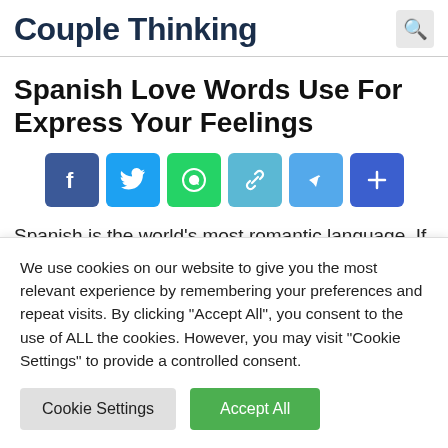Couple Thinking
Spanish Love Words Use For Express Your Feelings
[Figure (infographic): Row of social share buttons: Facebook, Twitter, WhatsApp, Link, Telegram, Share More]
Spanish is the world’s most romantic language. If
We use cookies on our website to give you the most relevant experience by remembering your preferences and repeat visits. By clicking “Accept All”, you consent to the use of ALL the cookies. However, you may visit “Cookie Settings” to provide a controlled consent.